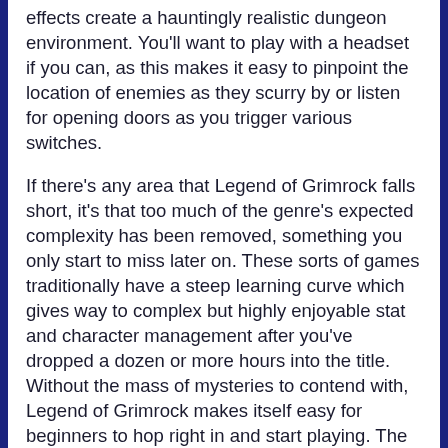effects create a hauntingly realistic dungeon environment. You'll want to play with a headset if you can, as this makes it easy to pinpoint the location of enemies as they scurry by or listen for opening doors as you trigger various switches.
If there's any area that Legend of Grimrock falls short, it's that too much of the genre's expected complexity has been removed, something you only start to miss later on. These sorts of games traditionally have a steep learning curve which gives way to complex but highly enjoyable stat and character management after you've dropped a dozen or more hours into the title. Without the mass of mysteries to contend with, Legend of Grimrock makes itself easy for beginners to hop right in and start playing. The trade-off is once you get your foot in the door, you don't have nearly as much control or customization options as you might with a competitor's title.